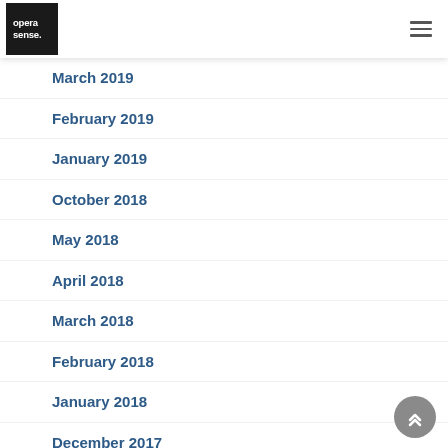opera sense.
March 2019
February 2019
January 2019
October 2018
May 2018
April 2018
March 2018
February 2018
January 2018
December 2017